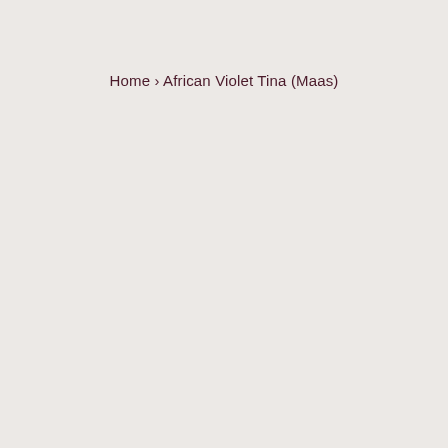Home › African Violet Tina (Maas)